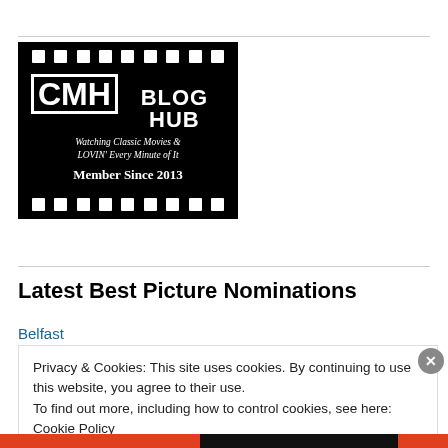[Figure (logo): CMH Blog Hub logo — black film strip style badge with text: CMH BLOG HUB, Watching Classic Movies & LOVIN' Every Minute of It, Member Since 2013]
Latest Best Picture Nominations
Belfast
Privacy & Cookies: This site uses cookies. By continuing to use this website, you agree to their use.
To find out more, including how to control cookies, see here: Cookie Policy
Close and accept